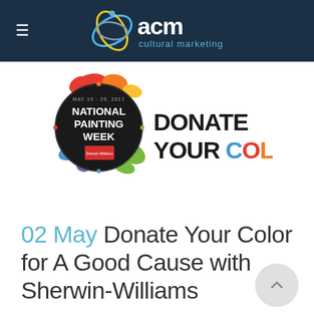[Figure (logo): AC&M Cultural Marketing logo in white on dark navy header bar, with stylized globe/orbit graphic]
[Figure (illustration): National Painting Week May 19-29, 2017 Sherwin-Williams 'Donate Your Color' campaign logo combining colorful paint splashes with a black circular badge]
02 May Donate Your Color for A Good Cause with Sherwin-Williams